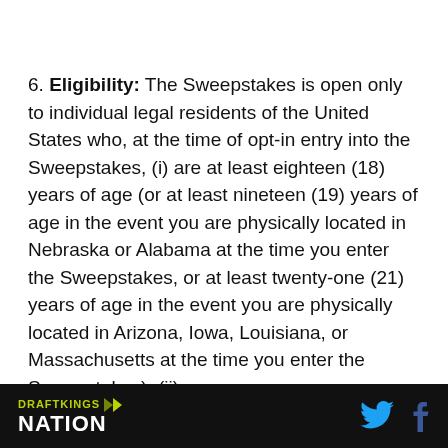6. Eligibility: The Sweepstakes is open only to individual legal residents of the United States who, at the time of opt-in entry into the Sweepstakes, (i) are at least eighteen (18) years of age (or at least nineteen (19) years of age in the event you are physically located in Nebraska or Alabama at the time you enter the Sweepstakes, or at least twenty-one (21) years of age in the event you are physically located in Arizona, Iowa, Louisiana, or Massachusetts at the time you enter the Sweepstakes); (ii) are
DRAFTKINGS NATION